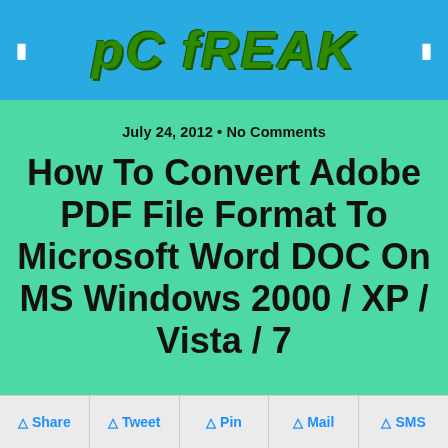pC fREAK
July 24, 2012 • No Comments
How To Convert Adobe PDF File Format To Microsoft Word DOC On MS Windows 2000 / XP / Vista / 7
[Figure (screenshot): Advertisement screenshot showing 'Hold and Move' app with trees and toolbar overlay, with help and close icons]
Share  Tweet  Pin  Mail  SMS